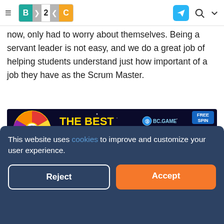B2C — navigation bar with hamburger menu, B2C logo, Telegram icon, search icon, chevron icon
now, only had to worry about themselves. Being a servant leader is not easy, and we do a great job of helping students understand just how important of a job they have as the Scrum Master.
[Figure (other): Advertisement banner for BC.GAME crypto casino. Dark background with 'Lucky Spin 5 BTC' wheel graphic on left, 'THE BEST CRYPTO CASINO' text in yellow/white, BC.GAME logo, green 'SPIN NOW' button, astronaut character, and 'FREE SPIN' badge in top right.]
So, back to those questions. Rather than answer each one I will provide you some general advice that I've found helpful in my experience.
This website uses cookies to improve and customize your user experience.
Reject
Accept
give them. Trust and respect are fickle concepts in that they